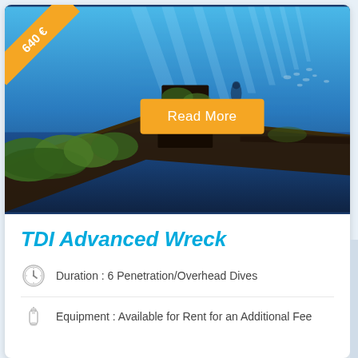[Figure (photo): Underwater scuba diving scene showing a shipwreck covered in green algae/coral, with blue water above and light rays filtering down. A diver silhouette is visible in the background.]
TDI Advanced Wreck
Duration : 6 Penetration/Overhead Dives
Equipment : Available for Rent for an Additional Fee